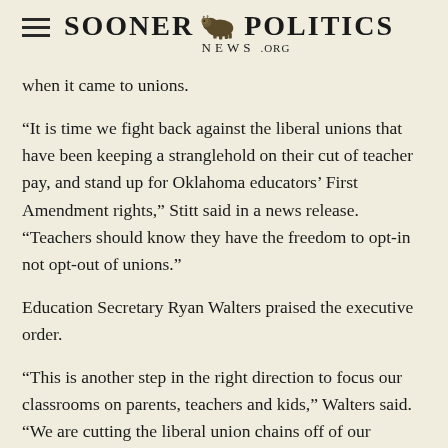Sooner Politics News .org
when it came to unions.
“It is time we fight back against the liberal unions that have been keeping a stranglehold on their cut of teacher pay, and stand up for Oklahoma educators’ First Amendment rights,” Stitt said in a news release. “Teachers should know they have the freedom to opt-in not opt-out of unions.”
Education Secretary Ryan Walters praised the executive order.
“This is another step in the right direction to focus our classrooms on parents, teachers and kids,” Walters said. “We are cutting the liberal union chains off of our teachers.”